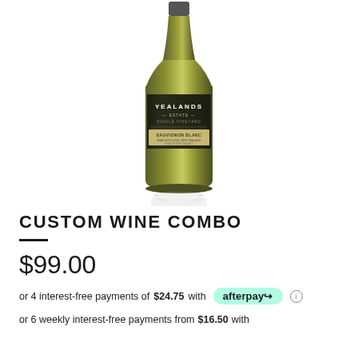[Figure (photo): A bottle of Yealands Estate Single Vineyard Sauvignon Blanc white wine with a dark label and golden-green glass, shown with a faint reflection beneath it.]
CUSTOM WINE COMBO
$99.00
or 4 interest-free payments of $24.75 with afterpay
or 6 weekly interest-free payments from $16.50 with